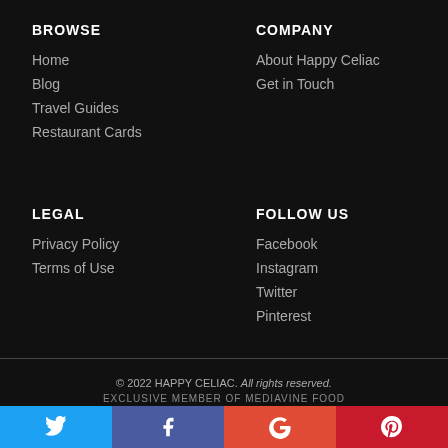BROWSE
Home
Blog
Travel Guides
Restaurant Cards
COMPANY
About Happy Celiac
Get in Touch
LEGAL
Privacy Policy
Terms of Use
FOLLOW US
Facebook
Instagram
Twitter
Pinterest
© 2022 HAPPY CELIAC. All rights reserved. EXCLUSIVE MEMBER OF MEDIAVINE FOOD